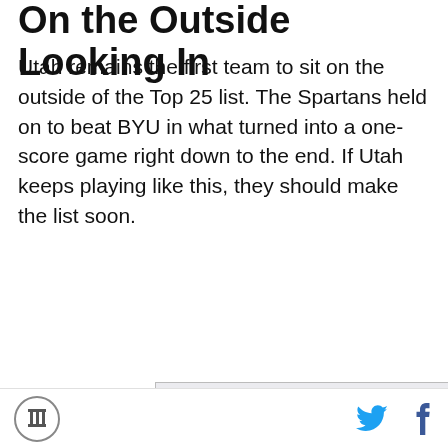On the Outside Looking In
Utah remains the first team to sit on the outside of the Top 25 list. The Spartans held on to beat BYU in what turned into a one-score game right down to the end. If Utah keeps playing like this, they should make the list soon.
[Figure (infographic): Advertisement for Nasdaq 100 with text 'Huddle up with the Nasdaq's 100 most innovative companies.' showing a football goalpost shape and '100' logo with Invesco branding.]
Site logo icon, Twitter share icon, Facebook share icon